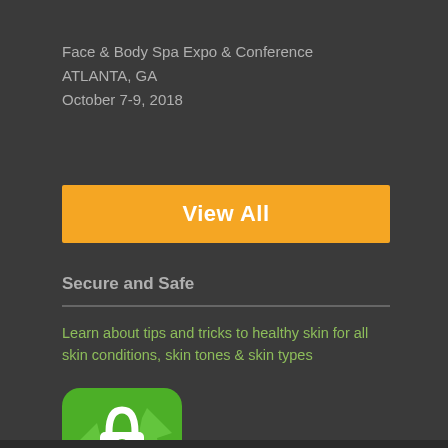Face & Body Spa Expo & Conference
ATLANTA, GA
October 7-9, 2018
View All
Secure and Safe
Learn about tips and tricks to healthy skin for all skin conditions, skin tones & skin types
[Figure (logo): Green rounded-square SSL Certificate badge with a padlock icon and text 'SSL CERTIFICATE']